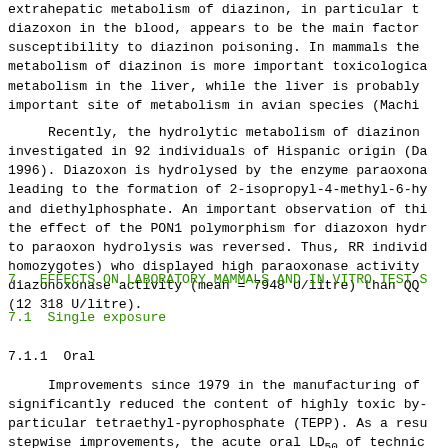extrahepatic metabolism of diazinon, in particular the diazoxon in the blood, appears to be the main factor in susceptibility to diazinon poisoning. In mammals the metabolism of diazinon is more important toxicologically metabolism in the liver, while the liver is probably important site of metabolism in avian species (Machir
Recently, the hydrolytic metabolism of diazinon investigated in 92 individuals of Hispanic origin (Da 1996). Diazoxon is hydrolysed by the enzyme paraoxona leading to the formation of 2-isopropyl-4-methyl-6-hy and diethylphosphate. An important observation of thi the effect of the PON1 polymorphism for diazoxon hyd to paraoxon hydrolysis was reversed. Thus, RR individ homozygotes) who displayed high paraoxonase activity diazonoxonase activity (mean = 7948 U/litre) than QQ (12 318 U/litre).
7.  EFFECTS ON LABORATORY MAMMALS AND IN VITRO TEST S
7.1  Single exposure
7.1.1  Oral
Improvements since 1979 in the manufacturing of significantly reduced the content of highly toxic by- particular tetraethyl-pyrophosphate (TEPP). As a resu stepwise improvements, the acute oral LD50 of technic diazinon increased to values around 1000 mg/kg (Picc: Bathe & Gfeller, 1980; Schoch & Gfeller, 1985; Kuhn,